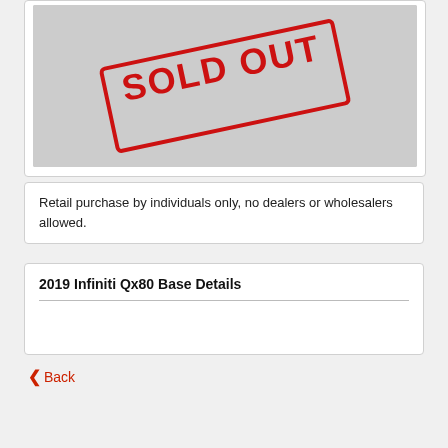[Figure (illustration): A gray placeholder image with a red 'SOLD OUT' stamp overlay, shown inside a white card.]
Retail purchase by individuals only, no dealers or wholesalers allowed.
2019 Infiniti Qx80 Base Details
Back